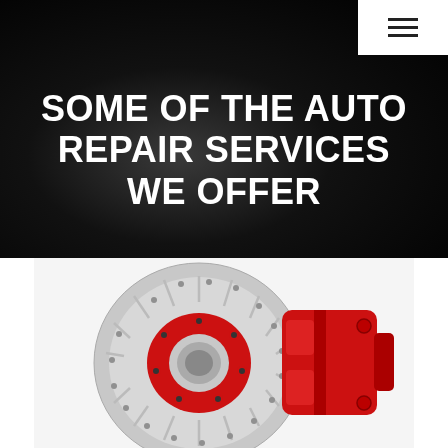[Figure (photo): Navigation hamburger menu icon in white bar at top right]
SOME OF THE AUTO REPAIR SERVICES WE OFFER
[Figure (photo): High-performance brake disc rotor with red caliper on white background]